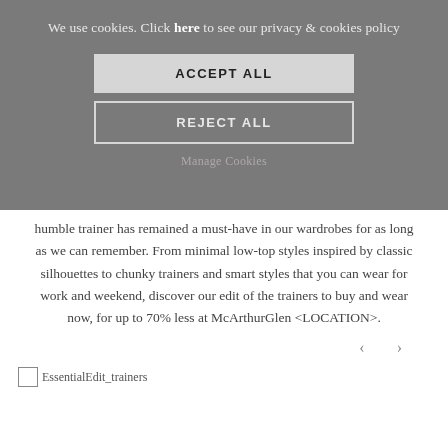We use cookies. Click here to see our privacy & cookies policy
ACCEPT ALL
REJECT ALL
Manage Cookies
humble trainer has remained a must-have in our wardrobes for as long as we can remember. From minimal low-top styles inspired by classic silhouettes to chunky trainers and smart styles that you can wear for work and weekend, discover our edit of the trainers to buy and wear now, for up to 70% less at McArthurGlen <LOCATION>.
< >
[Figure (other): Broken image placeholder labeled EssentialEdit_trainers]